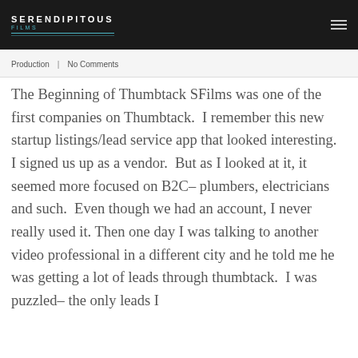SERENDIPITOUS FILMS
Production | No Comments
The Beginning of Thumbtack SFilms was one of the first companies on Thumbtack.  I remember this new startup listings/lead service app that looked interesting.  I signed us up as a vendor.  But as I looked at it, it seemed more focused on B2C– plumbers, electricians and such.  Even though we had an account, I never really used it. Then one day I was talking to another video professional in a different city and he told me he was getting a lot of leads through thumbtack.  I was puzzled– the only leads I